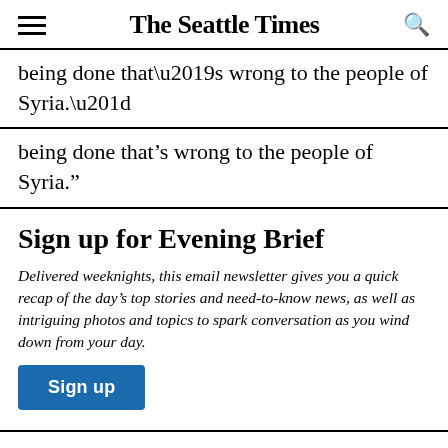The Seattle Times
being done that’s wrong to the people of Syria.”
Sign up for Evening Brief
Delivered weeknights, this email newsletter gives you a quick recap of the day’s top stories and need-to-know news, as well as intriguing photos and topics to spark conversation as you wind down from your day.
Sign up
But on the peace front, the U.S. has spearheaded no new effort, and Trump’s overall approach has not deviated dramatically from his predecessor’s. Obama, too, relied on Kurdish forces to do the